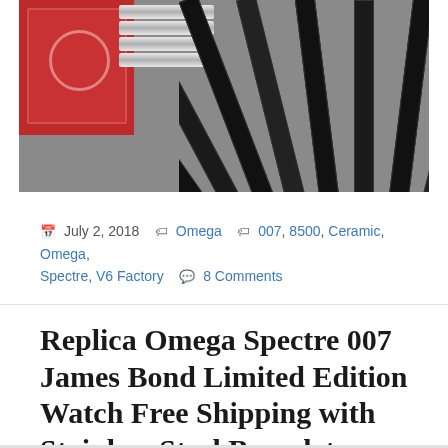[Figure (photo): Photo of a replica watch product showing a red watch box on the left, a silver stainless steel bracelet in the center, and multiple black watch straps fanned out on the right, on a textured dark background.]
July 2, 2018  Omega  007, 8500, Ceramic, Omega, Spectre, V6 Factory  8 Comments
Replica Omega Spectre 007 James Bond Limited Edition Watch Free Shipping with Stainless Steel Bracelet